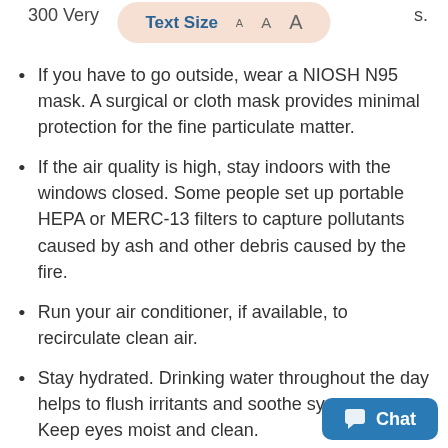300 Very
[Figure (other): Text Size control overlay with options: A A A]
s.
If you have to go outside, wear a NIOSH N95 mask. A surgical or cloth mask provides minimal protection for the fine particulate matter.
If the air quality is high, stay indoors with the windows closed. Some people set up portable HEPA or MERC-13 filters to capture pollutants caused by ash and other debris caused by the fire.
Run your air conditioner, if available, to recirculate clean air.
Stay hydrated. Drinking water throughout the day helps to flush irritants and soothe symptoms. Keep eyes moist and clean.
Keep activities that can cause irritation to a minimum. Don't vacuum, burn candles, burn anything in the fireplace, or smoke at home.
Keep extra medications or [partially visible] and to
[Figure (other): Chat button overlay in bottom right corner]